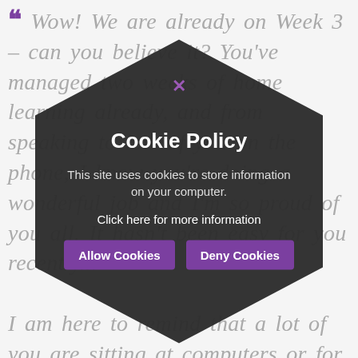“Wow! We are already on Week 3 – can you believe it? You’ve managed two weeks of home learning already, and from speaking to lots of you on the phone, I know you’re doing a wonderful job and I’m so proud of you all. It hasn’t been easy for you recently... I am here to remind that a lot of you are sitting at computers or for long periods in your home and I would like you to stay as active as you possibly can each day; sitting down for hours on end is not good for your body so take regular breaks, as and when you need them.
[Figure (infographic): Dark hexagon-shaped cookie policy dialog overlay. Contains a purple X close button at top, title 'Cookie Policy', body text 'This site uses cookies to store information on your computer.', a 'Click here for more information' link, and two purple buttons: 'Allow Cookies' and 'Deny Cookies'.]